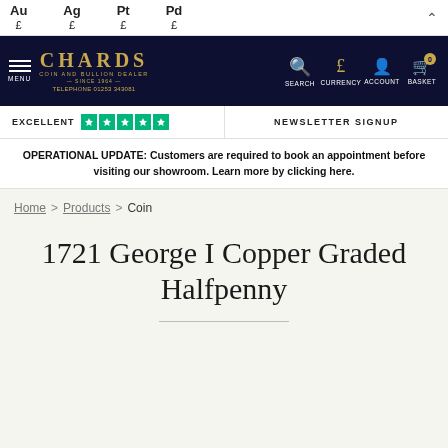Au £  Ag £  Pt £  Pd £
[Figure (logo): Chards Coin and Bullion Dealer logo with navigation icons (search, currency, account, basket)]
EXCELLENT ★★★★★  NEWSLETTER SIGNUP
OPERATIONAL UPDATE: Customers are required to book an appointment before visiting our showroom. Learn more by clicking here.
Home > Products > Coin
1721 George I Copper Graded Halfpenny